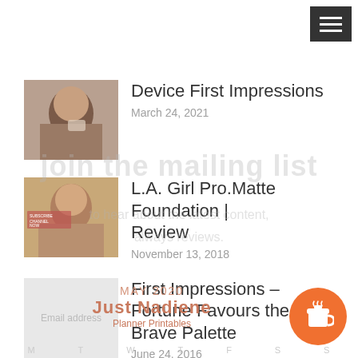[Figure (other): Hamburger menu button, dark grey background with three white horizontal lines]
Device First Impressions — March 24, 2021
L.A. Girl Pro.Matte Foundation | Review — November 13, 2018
First Impressions – Fortune Favours the Brave Palette — June 24, 2016
MAY 2020
Just Nadiene
Planner Printables
M  T  W  T  F  S  S